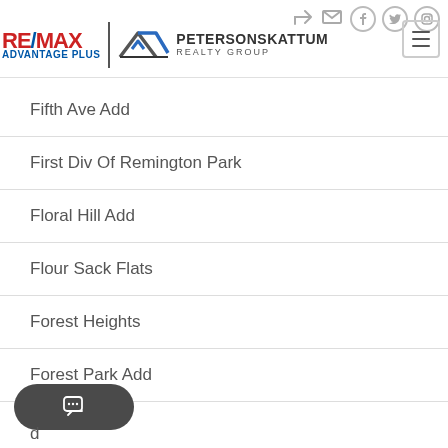RE/MAX Advantage Plus | Peterson Skattum Realty Group
Fifth Ave Add
First Div Of Remington Park
Floral Hill Add
Flour Sack Flats
Forest Heights
Forest Park Add
...d